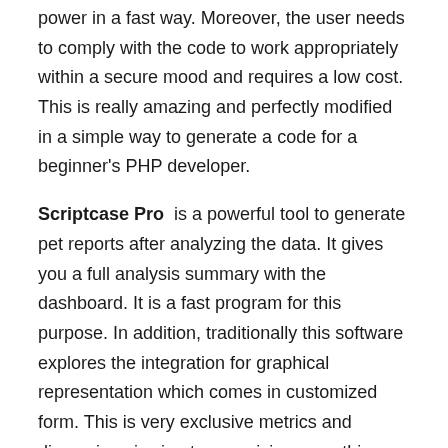power in a fast way. Moreover, the user needs to comply with the code to work appropriately within a secure mood and requires a low cost. This is really amazing and perfectly modified in a simple way to generate a code for a beginner's PHP developer.
Scriptcase Pro is a powerful tool to generate pet reports after analyzing the data. It gives you a full analysis summary with the dashboard. It is a fast program for this purpose. In addition, traditionally this software explores the integration for graphical representation which comes in customized form. This is very exclusive metrics and dimension viewing to organizing everything from scratches. After all, it will diagnose the dashboard in a key unit indicator for a particular process. The Scriptcase is relevant to the business point and makes a form to